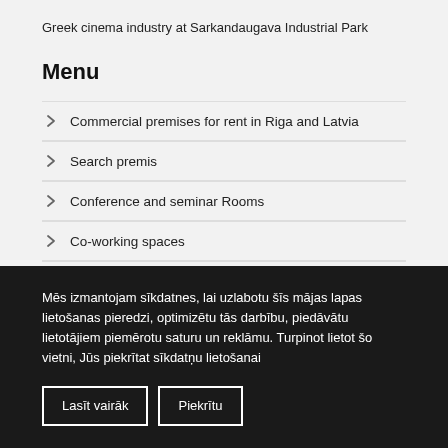Greek cinema industry at Sarkandaugava Industrial Park
Menu
Commercial premises for rent in Riga and Latvia
Search premis
Conference and seminar Rooms
Co-working spaces
Commercial premises
Mēs izmantojam sīkdatnes, lai uzlabotu šīs mājas lapas lietošanas pieredzi, optimizētu tās darbību, piedāvātu lietotājiem piemērotu saturu un reklāmu. Turpinot lietot šo vietni, Jūs piekrītat sīkdatņu lietošanai
Lasīt vairāk
Piekrītu